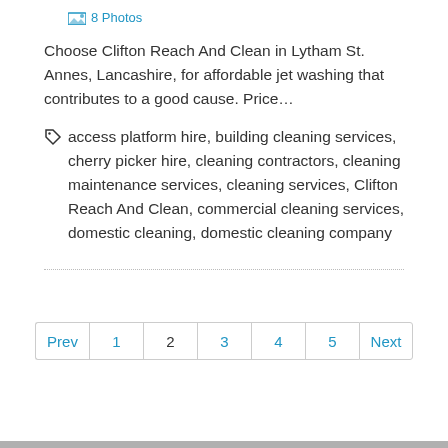8 Photos
Choose Clifton Reach And Clean in Lytham St. Annes, Lancashire, for affordable jet washing that contributes to a good cause. Price…
access platform hire, building cleaning services, cherry picker hire, cleaning contractors, cleaning maintenance services, cleaning services, Clifton Reach And Clean, commercial cleaning services, domestic cleaning, domestic cleaning company